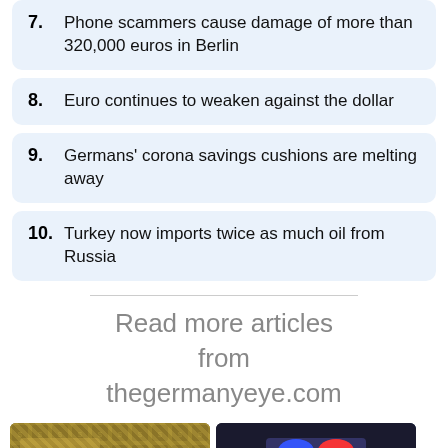7. Phone scammers cause damage of more than 320,000 euros in Berlin
8. Euro continues to weaken against the dollar
9. Germans' corona savings cushions are melting away
10. Turkey now imports twice as much oil from Russia
Read more articles from thegermanyeye.com
[Figure (photo): Two photos side by side: left shows US dollar bills, right shows a police car with blue lights flashing. A 'Top' button appears in the bottom-right corner.]